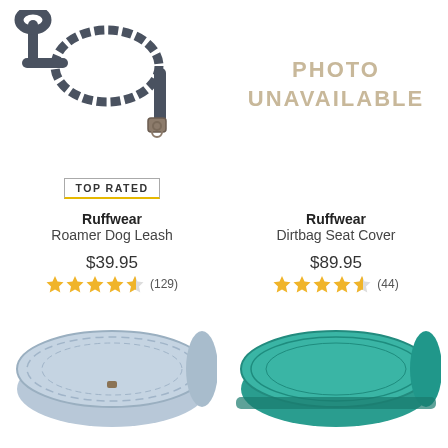[Figure (photo): Ruffwear Roamer Dog Leash product photo showing a dark grey bungee-style dog leash with metal clasp]
[Figure (other): Photo unavailable placeholder text in light tan/gold color]
TOP RATED
Ruffwear
Roamer Dog Leash
Ruffwear
Dirtbag Seat Cover
$39.95
$89.95
★★★★½ (129)
★★★★½ (44)
[Figure (photo): Light blue/grey patterned product (likely a dog sleeping bag or mat) partially visible at bottom left]
[Figure (photo): Teal/aqua colored product (likely a dog sleeping bag or mat) partially visible at bottom right]